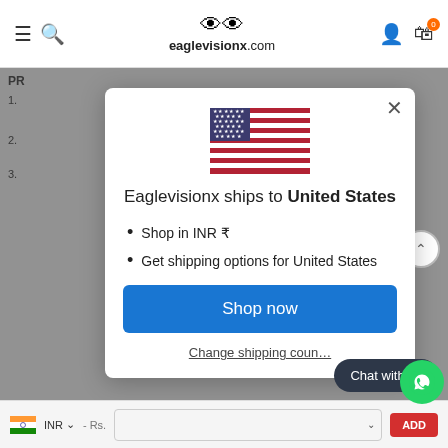eaglevisionx.com
[Figure (screenshot): Modal popup on eaglevisionx.com website showing shipping options to United States with US flag icon]
Eaglevisionx ships to United States
Shop in INR ₹
Get shipping options for United States
Shop now
Change shipping country